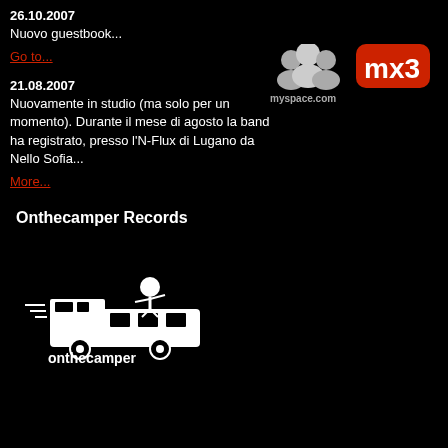26.10.2007
Nuovo guestbook...
Go to...
21.08.2007
Nuovamente in studio (ma solo per un momento). Durante il mese di agosto la band ha registrato, presso l'N-Flux di Lugano da Nello Sofia...
More...
Onthecamper Records
[Figure (logo): Onthecamper Records logo: white illustration of a camper van with a person on top, text 'onthecamper RECORDS' below in white and grey]
[Figure (logo): myspace.com logo: grey/white figure icons with myspace.com text]
[Figure (logo): mx3 logo: red rounded rectangle with white mx3 text]